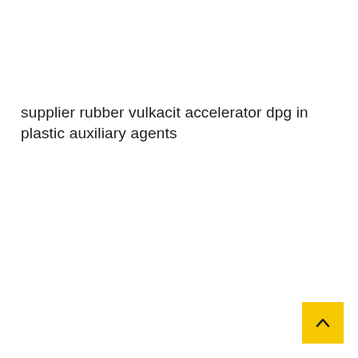supplier rubber vulkacit accelerator dpg in plastic auxiliary agents